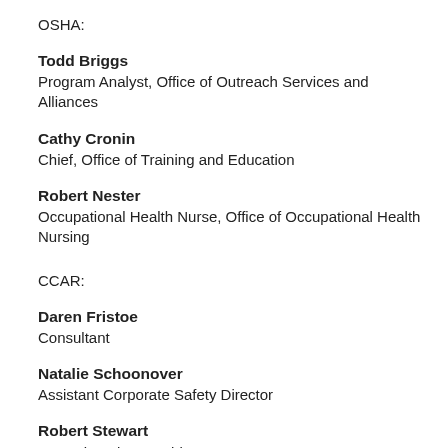OSHA:
Todd Briggs
Program Analyst, Office of Outreach Services and Alliances
Cathy Cronin
Chief, Office of Training and Education
Robert Nester
Occupational Health Nurse, Office of Occupational Health Nursing
CCAR:
Daren Fristoe
Consultant
Natalie Schoonover
Assistant Corporate Safety Director
Robert Stewart
Executive Vice President
Evaluation Period
February 17, 2008 - February 16, 2009